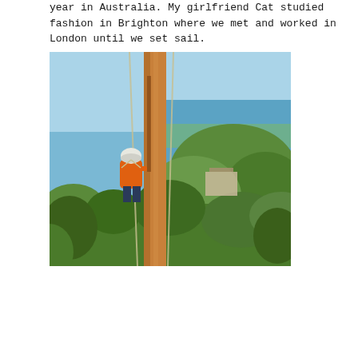year in Australia. My girlfriend Cat studied fashion in Brighton where we met and worked in London until we set sail.
[Figure (photo): A person in an orange jacket and white helmet climbing a tall eucalyptus tree using ropes, with green bushland and a blue ocean coastline visible in the background below.]